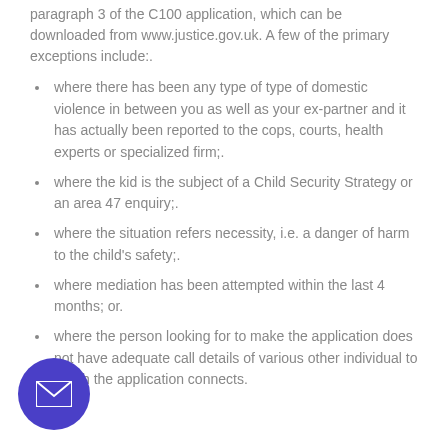paragraph 3 of the C100 application, which can be downloaded from www.justice.gov.uk. A few of the primary exceptions include:.
where there has been any type of type of domestic violence in between you as well as your ex-partner and it has actually been reported to the cops, courts, health experts or specialized firm;.
where the kid is the subject of a Child Security Strategy or an area 47 enquiry;.
where the situation refers necessity, i.e. a danger of harm to the child's safety;.
where mediation has been attempted within the last 4 months; or.
where the person looking for to make the application does not have adequate call details of various other individual to which the application connects.
[Figure (other): Purple circular email contact button with white envelope icon]